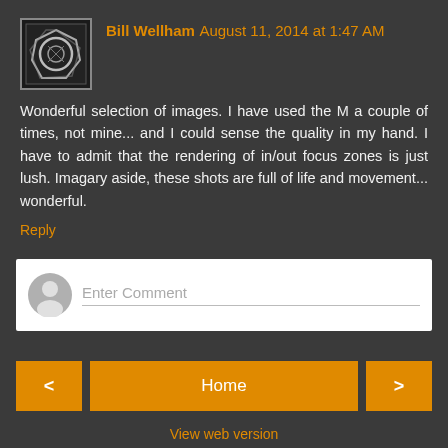Bill Wellham August 11, 2014 at 1:47 AM
Wonderful selection of images. I have used the M a couple of times, not mine... and I could sense the quality in my hand. I have to admit that the rendering of in/out focus zones is just lush. Imagary aside, these shots are full of life and movement... wonderful.
Reply
Enter Comment
Home
View web version
Powered by Blogger.